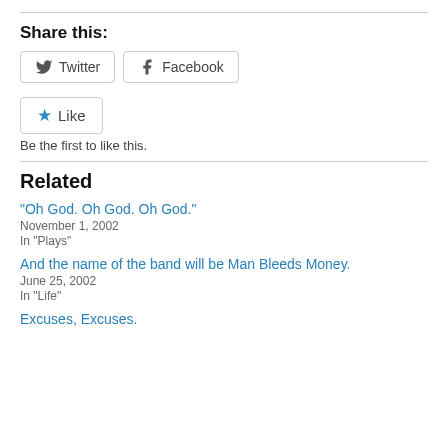Share this:
[Figure (other): Social share buttons: Twitter and Facebook, and a Like button with blue star icon]
Be the first to like this.
Related
“Oh God. Oh God. Oh God.”
November 1, 2002
In "Plays"
And the name of the band will be Man Bleeds Money.
June 25, 2002
In "Life"
Excuses, Excuses.